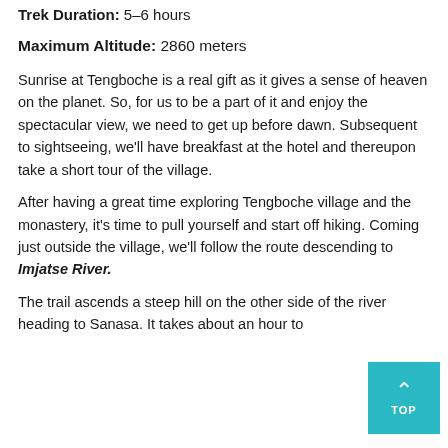Trek Duration: 5-6 hours
Maximum Altitude: 2860 meters
Sunrise at Tengboche is a real gift as it gives a sense of heaven on the planet. So, for us to be a part of it and enjoy the spectacular view, we need to get up before dawn. Subsequent to sightseeing, we'll have breakfast at the hotel and thereupon take a short tour of the village.
After having a great time exploring Tengboche village and the monastery, it's time to pull yourself and start off hiking. Coming just outside the village, we'll follow the route descending to Imjatse River.
The trail ascends a steep hill on the other side of the river heading to Sanasa. It takes about an hour to